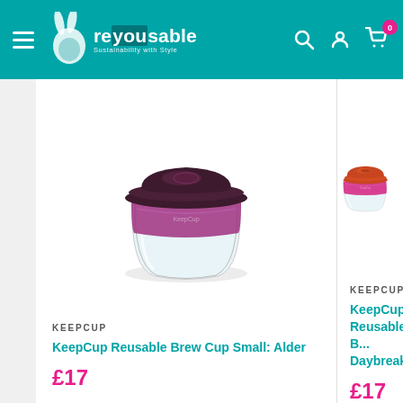[Figure (screenshot): Website header for reyousable.com showing teal/turquoise navigation bar with hamburger menu, logo with rabbit icon, search icon, account icon, and cart icon with 0 badge]
[Figure (photo): KeepCup Reusable Brew Cup Small in Alder colorway - glass cup with dark purple lid and magenta/purple silicone band]
KEEPCUP
KeepCup Reusable Brew Cup Small: Alder
£17
[Figure (photo): KeepCup Reusable Brew Cup in Daybreak colorway - glass cup with orange/red lid and pink silicone band, partially cropped]
KEEPCUP
KeepCup Reusable Brew Cup Daybreak
£17